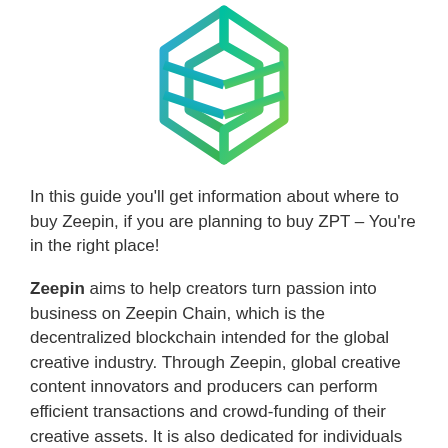[Figure (logo): Zeepin logo — a stylized 3D cube outline shape made of overlapping blue-to-green gradient stripes forming a geometric diamond/cube pattern]
In this guide you'll get information about where to buy Zeepin, if you are planning to buy ZPT – You're in the right place!
Zeepin aims to help creators turn passion into business on Zeepin Chain, which is the decentralized blockchain intended for the global creative industry. Through Zeepin, global creative content innovators and producers can perform efficient transactions and crowd-funding of their creative assets. It is also dedicated for individuals and organizations so they can improve innovation efficiency and use